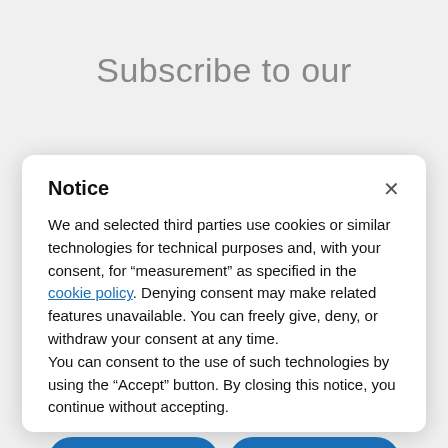Subscribe to our
Notice
We and selected third parties use cookies or similar technologies for technical purposes and, with your consent, for “measurement” as specified in the cookie policy. Denying consent may make related features unavailable. You can freely give, deny, or withdraw your consent at any time.
You can consent to the use of such technologies by using the “Accept” button. By closing this notice, you continue without accepting.
Reject
Accept
Learn more and customize